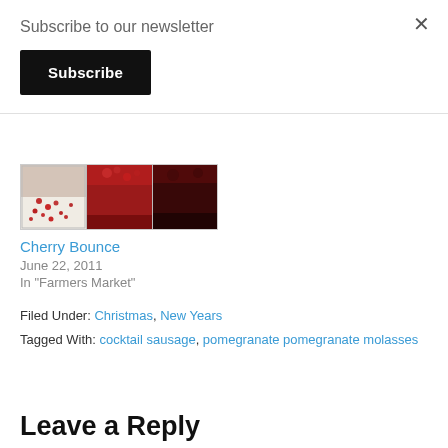Subscribe to our newsletter
Subscribe
[Figure (photo): Three panel photo strip showing jars/glasses with pomegranate seeds and cherries in various stages: white cream with red seeds, dark red liquid, very dark liquid.]
Cherry Bounce
June 22, 2011
In "Farmers Market"
Filed Under: Christmas, New Years
Tagged With: cocktail sausage, pomegranate pomegranate molasses
Leave a Reply